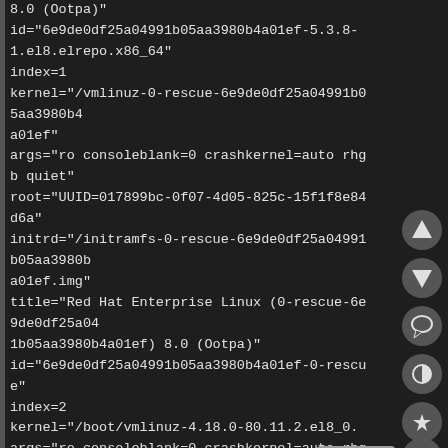8.0 (Ootpa)"
id="6e9de0df25a04991b05aa3980b4a01ef-5.3.8-1.el8.elrepo.x86_64"
index=1
kernel="/vmlinuz-0-rescue-6e9de0df25a04991b05aa3980b4a01ef"
args="ro consoleblank=0 crashkernel=auto rhgb quiet"
root="UUID=017899bc-0f07-4d05-825c-15f1f8e84d6a"
initrd="/initramfs-0-rescue-6e9de0df25a04991b05aa3980b4a01ef.img"
title="Red Hat Enterprise Linux (0-rescue-6e9de0df25a04991b05aa3980b4a01ef) 8.0 (Ootpa)"
id="6e9de0df25a04991b05aa3980b4a01ef-0-rescue"
index=2
kernel="/boot/vmlinuz-4.18.0-80.11.2.el8_0."
args="ro consoleblank=0 crashkernel=auto rhgb quiet $tuned_params"
root="UUID=017899bc-0f07-4d05-825c-15f1f8e84d6a"
initrd="/boot/initramfs-4.18.0-80.11.2.el8_0.x86_64.img $tuned_initrd"
title="...
[Figure (infographic): Sidebar with circular buttons: up arrow, down arrow, comment bubble, contrast/theme toggle, star/bookmark, and a grid/apps button. A tooltip showing placeholder text (rectangles) with an arrow pointing to the grid button.]